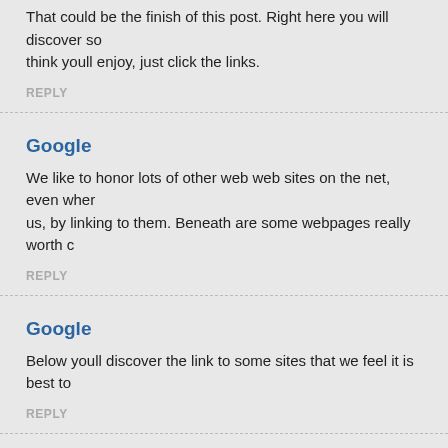That could be the finish of this post. Right here you will discover some sites that we think youll enjoy, just click the links.
REPLY
Google
We like to honor lots of other web web sites on the net, even when they arent linked to us, by linking to them. Beneath are some webpages really worth c
REPLY
Google
Below youll discover the link to some sites that we feel it is best to
REPLY